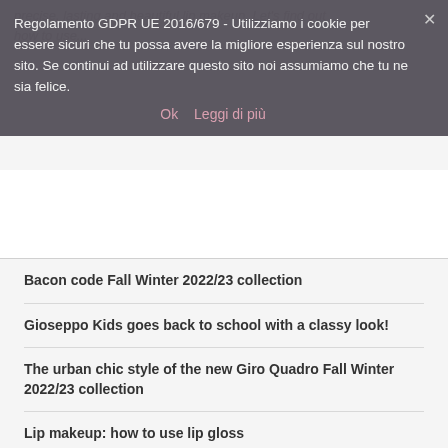Regolamento GDPR UE 2016/679 - Utilizziamo i cookie per essere sicuri che tu possa avere la migliore esperienza sul nostro sito. Se continui ad utilizzare questo sito noi assumiamo che tu ne sia felice.
Ok  Leggi di più
Bacon code Fall Winter 2022/23 collection
Gioseppo Kids goes back to school with a classy look!
The urban chic style of the new Giro Quadro Fall Winter 2022/23 collection
Lip makeup: how to use lip gloss
So What sports suits for training on the beach: colored and recycled garments